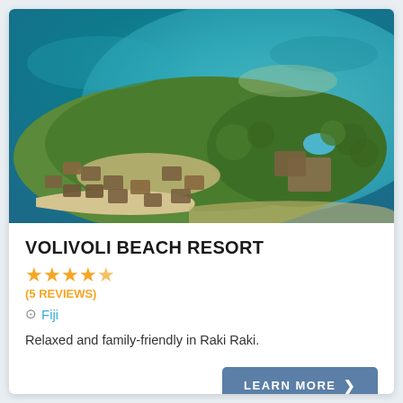[Figure (photo): Aerial view of Volivoli Beach Resort in Fiji, showing thatched-roof bungalows on a peninsula surrounded by turquoise ocean water, with lush tropical vegetation and a swimming pool visible.]
VOLIVOLI BEACH RESORT
★★★★½ (5 REVIEWS)
Fiji
Relaxed and family-friendly in Raki Raki.
LEARN MORE ❯